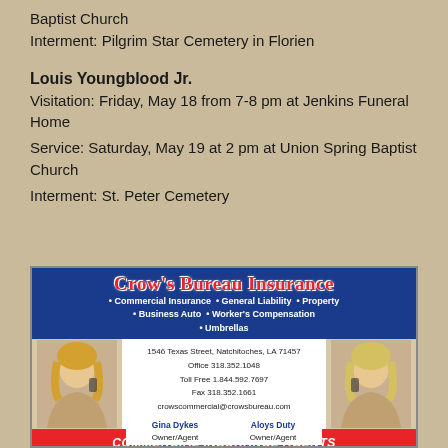Baptist Church
Interment: Pilgrim Star Cemetery in Florien
Louis Youngblood Jr.
Visitation: Friday, May 18 from 7-8 pm at Jenkins Funeral Home
Service: Saturday, May 19 at 2 pm at Union Spring Baptist Church
Interment: St. Peter Cemetery
[Figure (infographic): Advertisement for Crow's Bureau Insurance. Blue header with red italic title 'Crow's Bureau Insurance', white bold text listing: Commercial Insurance, General Liability, Property, Business Auto, Worker's Compensation, Umbrellas. White middle section with photos of two blonde women on phones (Gina Dykes, Owner/Agent and Aloys Duty, Owner/Agent) flanking contact info: 1546 Texas Street, Natchitoches, LA 71457, Office 318.352.1048, Toll Free 1.844.592.7697, Fax 318.352.1661, crowscommercial@crowsbureau.com. Red bottom banner: COMMERCIAL INSURANCE AGENTS.]